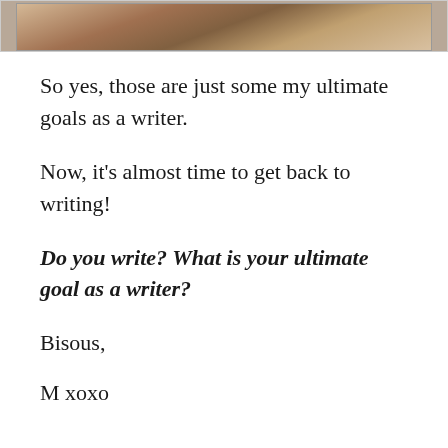[Figure (photo): Partial photo of a person, cropped at top of page, visible from waist/torso area, wearing olive/khaki clothing]
So yes, those are just some my ultimate goals as a writer.
Now, it's almost time to get back to writing!
Do you write? What is your ultimate goal as a writer?
Bisous,
M xoxo